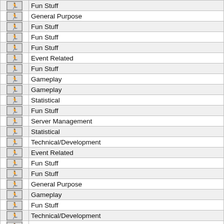| Icon | Category |
| --- | --- |
| [icon] | Fun Stuff |
| [icon] | General Purpose |
| [icon] | Fun Stuff |
| [icon] | Fun Stuff |
| [icon] | Fun Stuff |
| [icon] | Event Related |
| [icon] | Fun Stuff |
| [icon] | Gameplay |
| [icon] | Gameplay |
| [icon] | Statistical |
| [icon] | Fun Stuff |
| [icon] | Server Management |
| [icon] | Statistical |
| [icon] | Technical/Development |
| [icon] | Event Related |
| [icon] | Fun Stuff |
| [icon] | Fun Stuff |
| [icon] | General Purpose |
| [icon] | Gameplay |
| [icon] | Fun Stuff |
| [icon] | Technical/Development |
| [icon] | Fun Stuff |